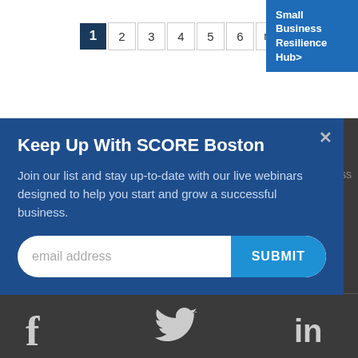1 2 3 4 5 6 next | Small Business Resilience Hub>
IN PARTNERSHIP WITH
Keep Up With SCORE Boston
Join our list and stay up-to-date with our live webinars designed to help you start and grow a successful business.
email address  SUBMIT
CONTACT US
[Figure (other): Social media icons: Facebook (f), Twitter (bird), LinkedIn (in)]